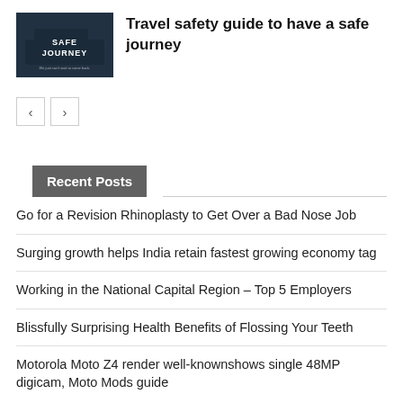[Figure (photo): Dark car image with white text 'SAFE JOURNEY' and small text below]
Travel safety guide to have a safe journey
< >
Recent Posts
Go for a Revision Rhinoplasty to Get Over a Bad Nose Job
Surging growth helps India retain fastest growing economy tag
Working in the National Capital Region – Top 5 Employers
Blissfully Surprising Health Benefits of Flossing Your Teeth
Motorola Moto Z4 render well-knownshows single 48MP digicam, Moto Mods guide